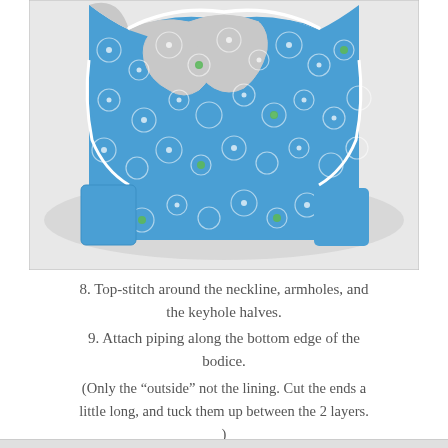[Figure (photo): A blue fabric bodice/vest with white piping around the neckline, armholes, and keyhole halves. The fabric has a blue bubble/circle pattern with small green and white dots. The garment is laid flat on a white surface, showing the top portion with shoulder straps and a keyhole opening at the center front neckline.]
8. Top-stitch around the neckline, armholes, and the keyhole halves.
9. Attach piping along the bottom edge of the bodice.
(Only the “outside” not the lining. Cut the ends a little long, and tuck them up between the 2 layers. )